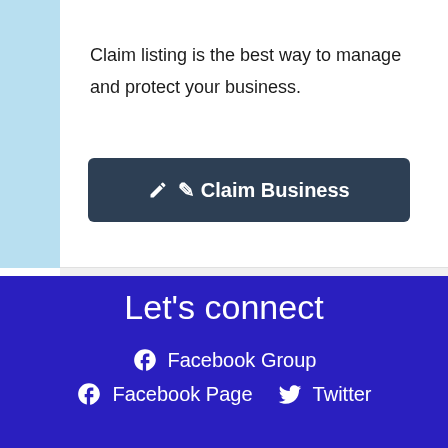Claim listing is the best way to manage and protect your business.
[Figure (other): Dark navy blue button with pencil icon and text 'Claim Business']
Let's connect
Facebook Group
Facebook Page
Twitter